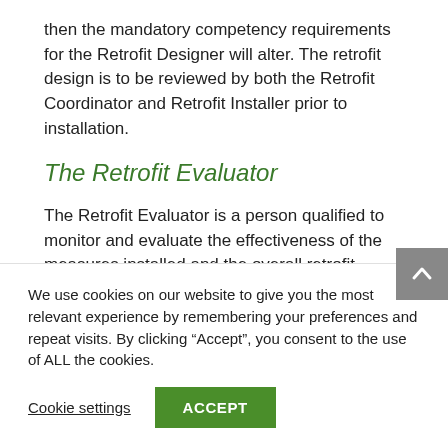then the mandatory competency requirements for the Retrofit Designer will alter. The retrofit design is to be reviewed by both the Retrofit Coordinator and Retrofit Installer prior to installation.
The Retrofit Evaluator
The Retrofit Evaluator is a person qualified to monitor and evaluate the effectiveness of the measures installed and the overall retrofit project. The monitoring has 3 levels: basic
We use cookies on our website to give you the most relevant experience by remembering your preferences and repeat visits. By clicking “Accept”, you consent to the use of ALL the cookies.
Cookie settings
ACCEPT